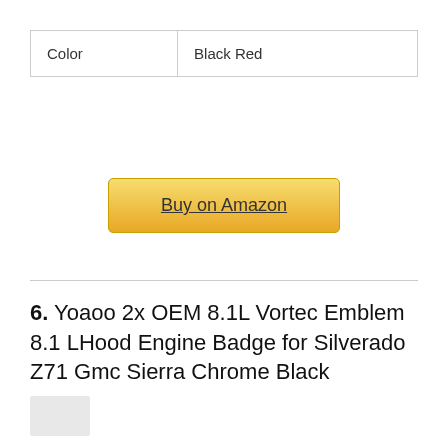| Color | Black Red |
Buy on Amazon
6. Yoaoo 2x OEM 8.1L Vortec Emblem 8.1 LHood Engine Badge for Silverado Z71 Gmc Sierra Chrome Black